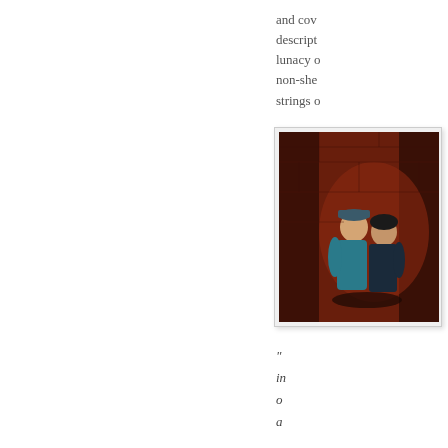and cov description lunacy of non-she strings o
[Figure (illustration): Comic book style illustration showing two figures embracing or struggling against a dark red/brown brick wall background. One figure wears a blue cap and teal outfit.]
" in o a